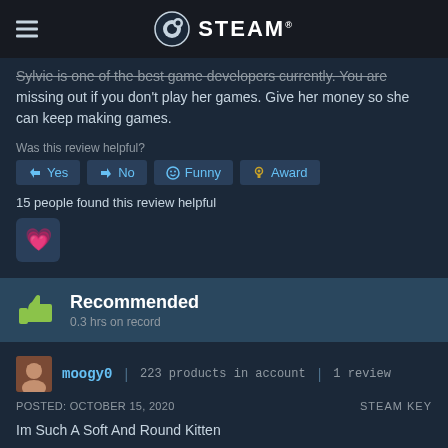STEAM
Sylvie is one of the best game developers currently. You are missing out if you don't play her games. Give her money so she can keep making games.
Was this review helpful?
Yes  No  Funny  Award
15 people found this review helpful
[Figure (other): Pink heart emoji award icon in a dark square button]
Recommended
0.3 hrs on record
moogy0  |  223 products in account  |  1 review
POSTED: OCTOBER 15, 2020   STEAM KEY
Im Such A Soft And Round Kitten